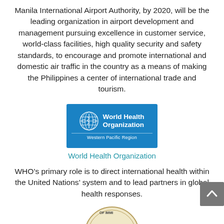Manila International Airport Authority, by 2020, will be the leading organization in airport development and management pursuing excellence in customer service, world-class facilities, high quality security and safety standards, to encourage and promote international and domestic air traffic in the country as a means of making the Philippines a center of international trade and tourism.
[Figure (logo): World Health Organization Western Pacific Region logo — blue rectangle with WHO emblem and text]
World Health Organization
WHO's primary role is to direct international health within the United Nations' system and to lead partners in global health responses.
[Figure (logo): Bureau of Immigration seal/logo, partially visible at bottom of page]